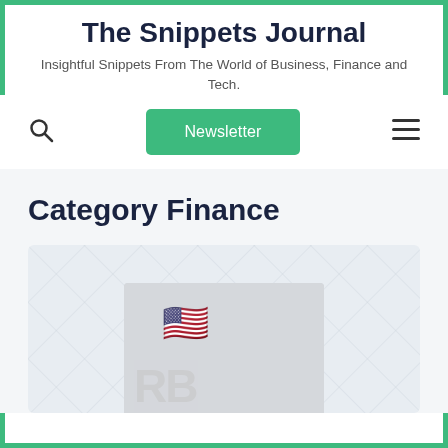The Snippets Journal
Insightful Snippets From The World of Business, Finance and Tech.
[Figure (screenshot): Navigation bar with search icon, green Newsletter button, and hamburger menu icon]
Category Finance
[Figure (photo): Card with diamond pattern background and an image showing an American flag on 3D letters, partially visible]